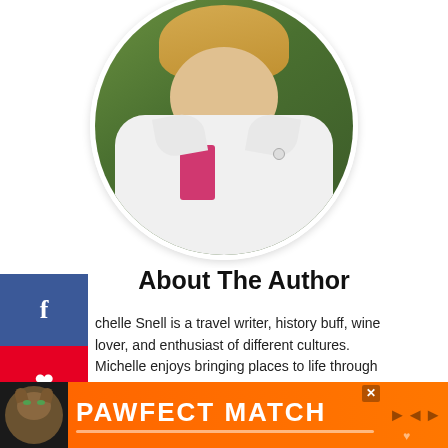[Figure (photo): Circular author photo of a woman in a white shirt with pink collar detail, photographed outdoors against a green background]
About The Author
Michelle Snell is a travel writer, history buff, wine lover, and enthusiast of different cultures. Michelle enjoys bringing places to life through her informative writing style on her blogs, That Texas Couple and Totally Texas Travel. Her practical tips and suggestions help make travel dreams a reality while immersing her readers in the history, culture, food of a region. She is happiest sipping wine in Italy or chilling on a beach with her husband, Marty.
[Figure (infographic): PAWFECT MATCH advertisement banner with cat image on orange/black background]